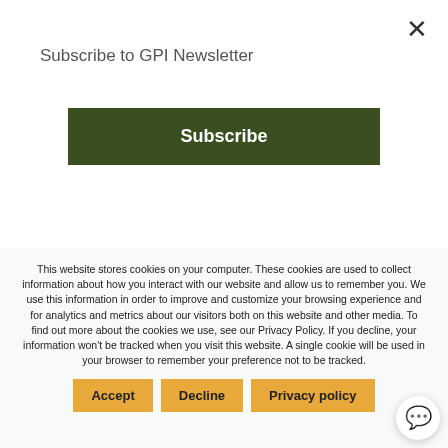Subscribe to GPI Newsletter
Subscribe
Translation, Food, and Culture Should Go Hand In Hand:
This website stores cookies on your computer. These cookies are used to collect information about how you interact with our website and allow us to remember you. We use this information in order to improve and customize your browsing experience and for analytics and metrics about our visitors both on this website and other media. To find out more about the cookies we use, see our Privacy Policy. If you decline, your information won't be tracked when you visit this website. A single cookie will be used in your browser to remember your preference not to be tracked.
Accept
Decline
Privacy policy